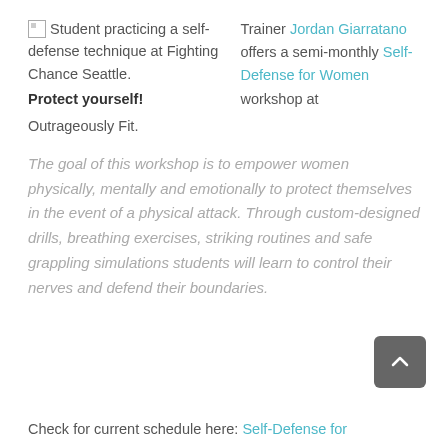[Figure (photo): Student practicing a self-defense technique at Fighting Chance Seattle.]
Student practicing a self-defense technique at Fighting Chance Seattle.
Protect yourself!
Trainer Jordan Giarratano offers a semi-monthly Self-Defense for Women workshop at Outrageously Fit.
The goal of this workshop is to empower women physically, mentally and emotionally to protect themselves in the event of a physical attack. Through custom-designed drills, breathing exercises, striking routines and safe grappling simulations students will learn to control their nerves and defend their boundaries.
Check for current schedule here: Self-Defense for